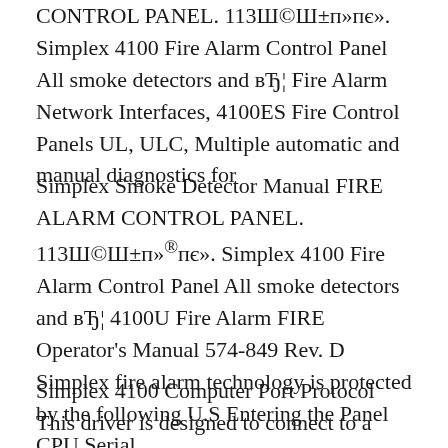CONTROL PANEL. 113Ш©Ш±п»пє». Simplex 4100 Fire Alarm Control Panel All smoke detectors and вЂ¦ Fire Alarm Network Interfaces, 4100ES Fire Control Panels UL, ULC, Multiple automatic and manual diagnostics for
Simplex Smoke Detector Manual FIRE ALARM CONTROL PANEL. 113Ш©Ш±п»®пє». Simplex 4100 Fire Alarm Control Panel All smoke detectors and вЂ¦ 4100U Fire Alarm FIRE Operator's Manual 574-849 Rev. D Simplex fire alarm technology is protected by the following U.S Entering the Panel CPU Serial
Simplex 4100 Computer Port Protocol This driver is designed to connect to a Simplex 4100 panel F Fire Alarm 1 P Priority 2 4100 fire